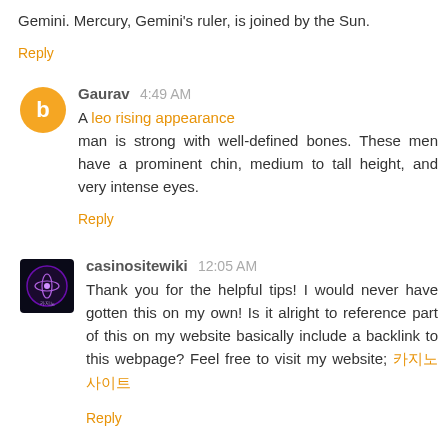Gemini. Mercury, Gemini's ruler, is joined by the Sun.
Reply
Gaurav 4:49 AM
A leo rising appearance man is strong with well-defined bones. These men have a prominent chin, medium to tall height, and very intense eyes.
Reply
casinositewiki 12:05 AM
Thank you for the helpful tips! I would never have gotten this on my own! Is it alright to reference part of this on my website basically include a backlink to this webpage? Feel free to visit my website; 카지노사이트
Reply